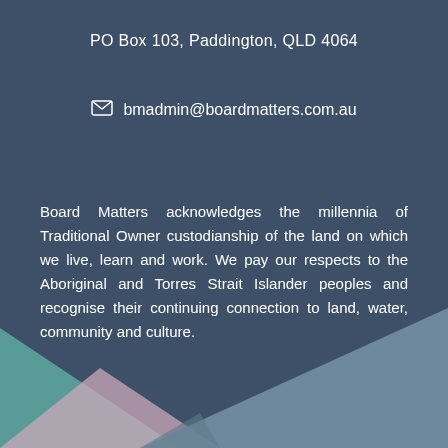PO Box 103, Paddington, QLD 4064
bmadmin@boardmatters.com.au
Board Matters acknowledges the millennia of Traditional Owner custodianship of the land on which we live, learn and work. We pay our respects to the Aboriginal and Torres Strait Islander peoples and recognise their continuing connection to land, water, community and culture.
[Figure (illustration): Decorative geometric background with overlapping triangles in teal, slate blue, and pink colors at the bottom of the page]